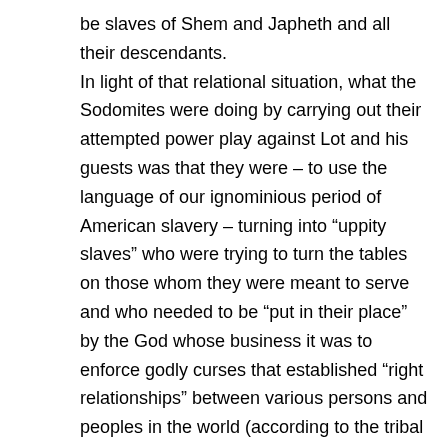be slaves of Shem and Japheth and all their descendants. In light of that relational situation, what the Sodomites were doing by carrying out their attempted power play against Lot and his guests was that they were – to use the language of our ignominious period of American slavery – turning into “uppity slaves” who were trying to turn the tables on those whom they were meant to serve and who needed to be “put in their place” by the God whose business it was to enforce godly curses that established “right relationships” between various persons and peoples in the world (according to the tribal mindset of early Israel, anyway). That is, the Sodomites didn’t “know their place;”